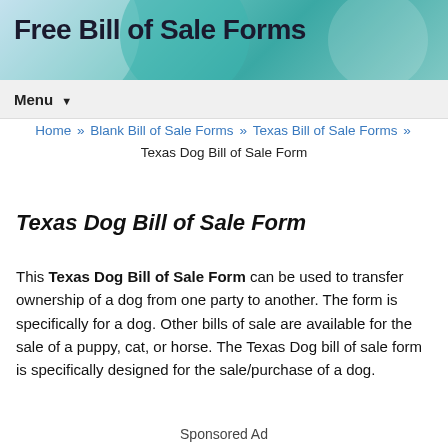Free Bill of Sale Forms
Menu
Home » Blank Bill of Sale Forms » Texas Bill of Sale Forms » Texas Dog Bill of Sale Form
Texas Dog Bill of Sale Form
This Texas Dog Bill of Sale Form can be used to transfer ownership of a dog from one party to another. The form is specifically for a dog. Other bills of sale are available for the sale of a puppy, cat, or horse. The Texas Dog bill of sale form is specifically designed for the sale/purchase of a dog.
Sponsored Ad